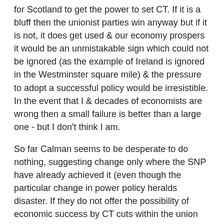for Scotland to get the power to set CT. If it is a bluff then the unionist parties win anyway but if it is not, it does get used & our economy prospers it would be an unmistakable sign which could not be ignored (as the example of Ireland is ignored in the Westminster square mile) & the pressure to adopt a successful policy would be irresistible. In the event that I & decades of economists are wrong then a small failure is better than a large one - but I don't think I am.
So far Calman seems to be desperate to do nothing, suggesting change only where the SNP have already achieved it (even though the particular change in power policy heralds disaster. If they do not offer the possibility of economic success by CT cuts within the union they may well force us into the only alternative - independence & trusting that the SNP will keep their word. If so the unionist parties will have nobody but themselves to blame.
neil craig at 3:00 pm